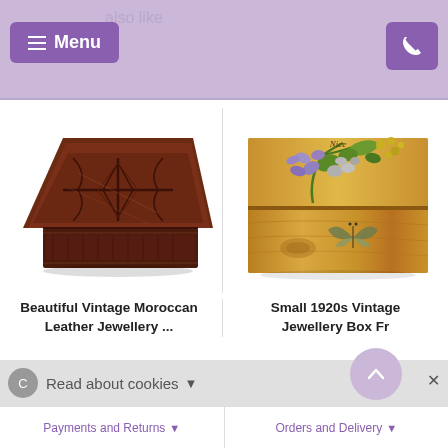You may also like
Menu
[Figure (photo): Beautiful Vintage Moroccan Leather Jewellery Box - dark carved wood with geometric pattern, coffin/pentagon shape]
[Figure (photo): Small 1920s Vintage Jewellery Box - light wooden box with painted floral design (flowers and leaves) and butterfly on side]
Beautiful Vintage Moroccan Leather Jewellery ...
Small 1920s Vintage Jewellery Box Fr
Read about cookies
Payments and Returns | Orders and Delivery